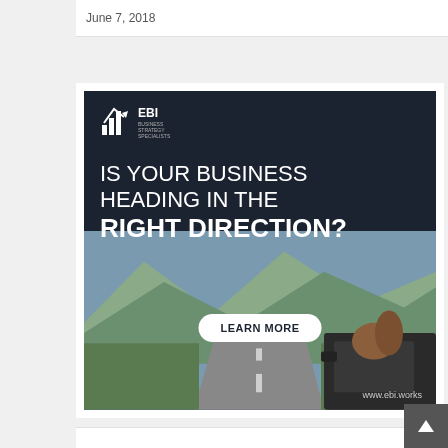June 7, 2018
[Figure (illustration): EBI Business Strategy Specialists advertisement. Dark navy background with white text reading 'IS YOUR BUSINESS HEADING IN THE RIGHT DIRECTION?' with a 'LEARN MORE' button. Lower half shows a road/mountain landscape photo with a person leaning out of a car window. EBI logo in top-left. URL www.ebi.works in bottom-right corner.]